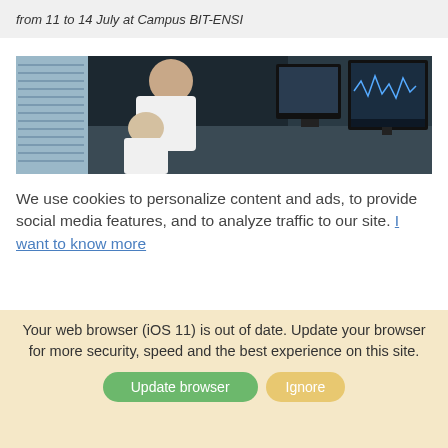from 11 to 14 July at Campus BIT-ENSI
[Figure (photo): Two people working at computer monitors in a studio/lab environment. A man with sunglasses on his head leans over toward another person at a workstation with multiple monitors.]
We use cookies to personalize content and ads, to provide social media features, and to analyze traffic to our site. I want to know more
Ok
Your web browser (iOS 11) is out of date. Update your browser for more security, speed and the best experience on this site.
Update browser  Ignore